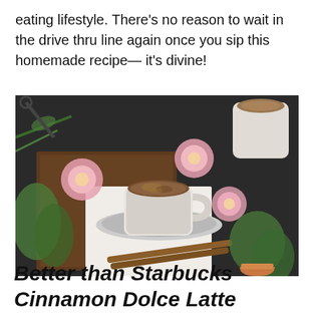eating lifestyle. There's no reason to wait in the drive thru line again once you sip this homemade recipe— it's divine!
[Figure (photo): Overhead photo of cinnamon latte in a white ceramic mug on a gray saucer, placed on a dark wooden board, surrounded by pink ranunculus flowers, green herbs and plants, cinnamon sticks, and a second latte mug in the background with cinnamon powder on top.]
Better than Starbucks Cinnamon Dolce Latte